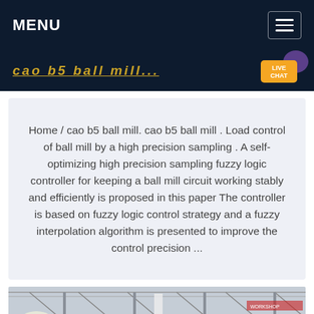MENU
cao b5 ball mill
Home / cao b5 ball mill. cao b5 ball mill . Load control of ball mill by a high precision sampling . A self-optimizing high precision sampling fuzzy logic controller for keeping a ball mill circuit working stably and efficiently is proposed in this paper The controller is based on fuzzy logic control strategy and a fuzzy interpolation algorithm is presented to improve the control precision ...
[Figure (photo): Interior of an industrial warehouse with steel structure roof and equipment visible]